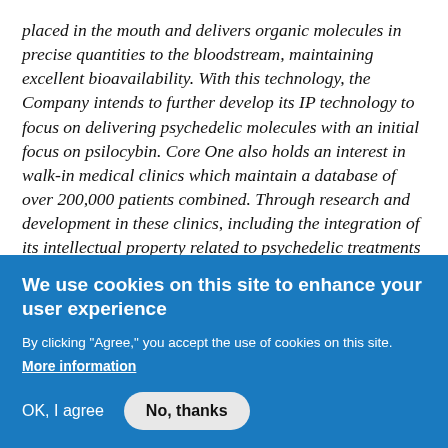placed in the mouth and delivers organic molecules in precise quantities to the bloodstream, maintaining excellent bioavailability. With this technology, the Company intends to further develop its IP technology to focus on delivering psychedelic molecules with an initial focus on psilocybin. Core One also holds an interest in walk-in medical clinics which maintain a database of over 200,000 patients combined. Through research and development in these clinics, including the integration of its intellectual property related to psychedelic treatments and novel drug therapies, the Company intends to work towards regulatory approval for research that advances psychedelic-derived
We use cookies on this site to enhance your user experience
By clicking "Agree," you accept the use of cookies on this site.
More information
OK, I agree
No, thanks